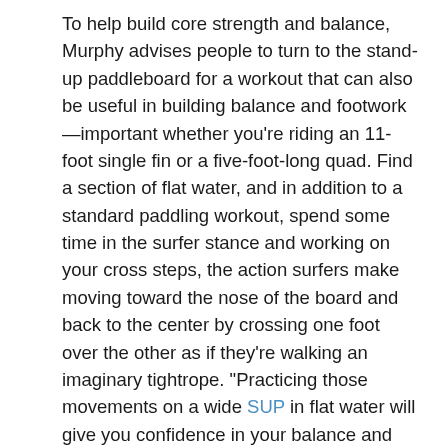To help build core strength and balance, Murphy advises people to turn to the stand-up paddleboard for a workout that can also be useful in building balance and footwork—important whether you're riding an 11-foot single fin or a five-foot-long quad. Find a section of flat water, and in addition to a standard paddling workout, spend some time in the surfer stance and working on your cross steps, the action surfers make moving toward the nose of the board and back to the center by crossing one foot over the other as if they're walking an imaginary tightrope. "Practicing those movements on a wide SUP in flat water will give you confidence in your balance and get you primed to succeed when you finally catch that wave," Murphy says.
As for her own surfing, Murphy says her style and form continue to evolve as she falls deeper in love with the longboard. "The way people can move on a longboard is